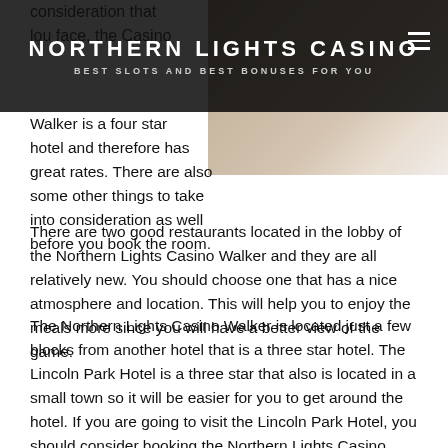NORTHERN LIGHTS CASINO
BEST SLOTS AND BEST BONUSES FOR YOU
consideration that
lou face, the Casino
Walker is a four star
hotel and therefore has
great rates. There are also some other things to take into consideration as well before you book the room.
There are two good restaurants located in the lobby of the Northern Lights Casino Walker and they are all relatively new. You should choose one that has a nice atmosphere and location. This will help you to enjoy the meals more since you will have a better view of the game.
The Northern Lights Casino Walker is located just a few blocks from another hotel that is a three star hotel. The Lincoln Park Hotel is a three star that also is located in a small town so it will be easier for you to get around the hotel. If you are going to visit the Lincoln Park Hotel, you should consider booking the Northern Lights Casino Walker.